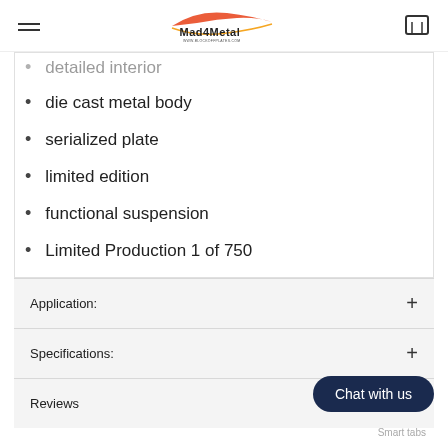Mad4Metal www.blockoffplates.com
detailed interior
die cast metal body
serialized plate
limited edition
functional suspension
Limited Production 1 of 750
Application:
Specifications:
Reviews
Chat with us
Smart tabs